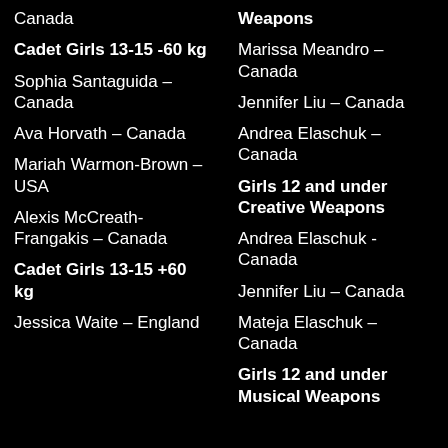Canada
Cadet Girls 13-15 -60 kg
Sophia Santaguida – Canada
Ava Horvath – Canada
Mariah Warmon-Brown – USA
Alexis McCreath-Frangakis – Canada
Cadet Girls 13-15 +60 kg
Jessica Waite – England
Weapons
Marissa Meandro – Canada
Jennifer Liu – Canada
Andrea Elaschuk – Canada
Girls 12 and under Creative Weapons
Andrea Elaschuk  - Canada
Jennifer Liu – Canada
Mateja Elaschuk – Canada
Girls 12 and under Musical Weapons